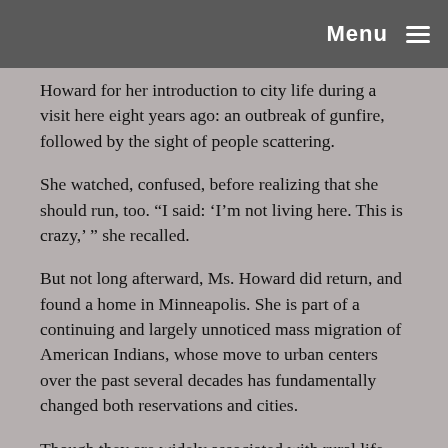Menu
Howard for her introduction to city life during a visit here eight years ago: an outbreak of gunfire, followed by the sight of people scattering.
She watched, confused, before realizing that she should run, too. “I said: ‘I’m not living here. This is crazy,’ ” she recalled.
But not long afterward, Ms. Howard did return, and found a home in Minneapolis. She is part of a continuing and largely unnoticed mass migration of American Indians, whose move to urban centers over the past several decades has fundamentally changed both reservations and cities.
Though they are widely associated with rural life, more than 7 of 10 Indians and Alaska Natives now live in a metropolitan area, according to Census Bureau data released this year, compared with 45 percent in 1970 and 8 percent in 1940.